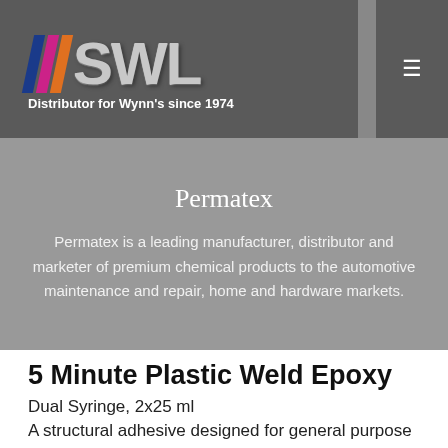SWL - Distributor for Wynn's since 1974
Permatex
Permatex is a leading manufacturer, distributor and marketer of premium chemical products to the automotive maintenance and repair, home and hardware markets.
5 Minute Plastic Weld Epoxy
Dual Syringe, 2x25 ml
A structural adhesive designed for general purpose